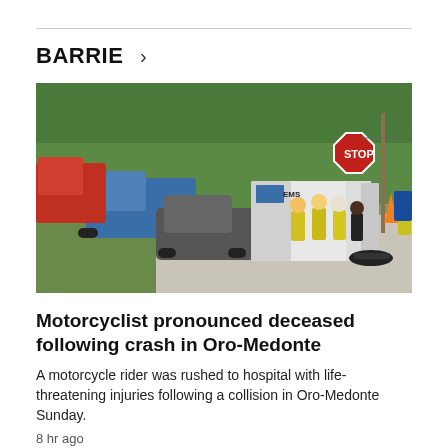BARRIE >
[Figure (photo): Emergency responders at a road crash scene in Oro-Medonte. A damaged car sits on the grass verge, firefighters in yellow high-vis gear and a black-clad officer stand near an open ambulance. A STOP sign is visible on the right, trees line the background. A motorcycle lies on the road.]
Motorcyclist pronounced deceased following crash in Oro-Medonte
A motorcycle rider was rushed to hospital with life-threatening injuries following a collision in Oro-Medonte Sunday.
8 hr ago